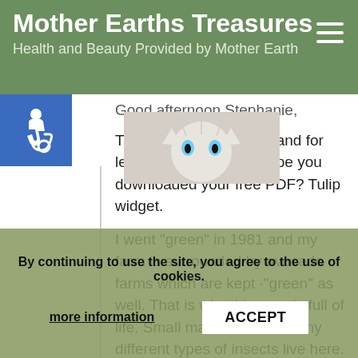Mother Earths Treasures
Health and Beauty Provided by Mother Earth
Good afternoon Stephanie,

Thank you for your visit and for leaving a comment. I hope you downloaded your free PDF? Tulip widget.

I went “green” in 1981 and my farm is surrounded by avocado farms which are kept ‘“green” as well. That is why this area is full of life. Small mammals and many different types of insects live here. I love to observe nature and watch the happenings in my garden.

I have the 2 butterfly parks I visited as fond memories and will return someday for sure.
By continuing to use the site, you agree to the use of cookies.
more information    ACCEPT